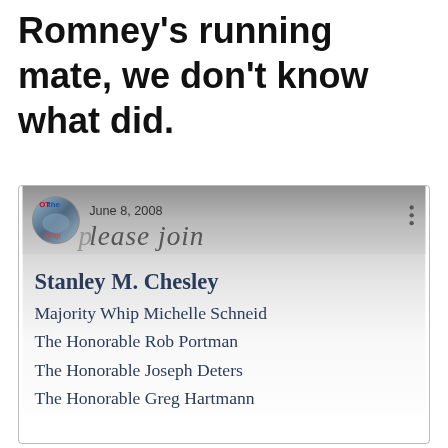Romney's running mate, we don't know what did.
[Figure (screenshot): Screenshot of a Facebook post dated June 8, 2008, showing an invitation with profile icon labeled 'OT the' and text 'please join' in italic script, listing names: Stanley M. Chesley, Majority Whip Michelle Schneider, The Honorable Rob Portman, The Honorable Joseph Deters, The Honorable Greg Hartmann]